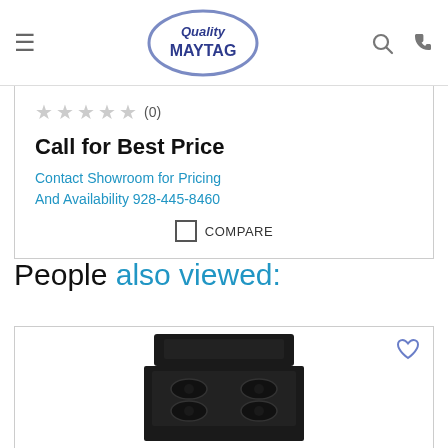Quality MAYTAG
★★★★☆ (0)
Call for Best Price
Contact Showroom for Pricing And Availability 928-445-8460
COMPARE
People also viewed:
[Figure (photo): Black gas range/stove appliance shown from front angle]